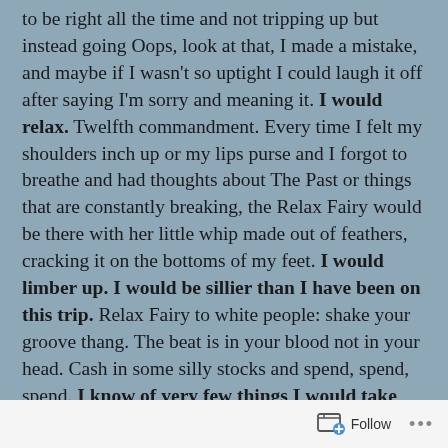to be right all the time and not tripping up but instead going Oops, look at that, I made a mistake, and maybe if I wasn't so uptight I could laugh it off after saying I'm sorry and meaning it. I would relax. Twelfth commandment. Every time I felt my shoulders inch up or my lips purse and I forgot to breathe and had thoughts about The Past or things that are constantly breaking, the Relax Fairy would be there with her little whip made out of feathers, cracking it on the bottoms of my feet. I would limber up. I would be sillier than I have been on this trip. Relax Fairy to white people: shake your groove thang. The beat is in your blood not in your head. Cash in some silly stocks and spend, spend, spend. I know of very few things I would take seriously. Except maybe risotto with truffles, or a perfectly roasted marshmallow. Or one of those little blue butterflies that bumps into your leg and makes you go, Hey, something that weighs as much as an exclamation mark just rammed into
Follow ···